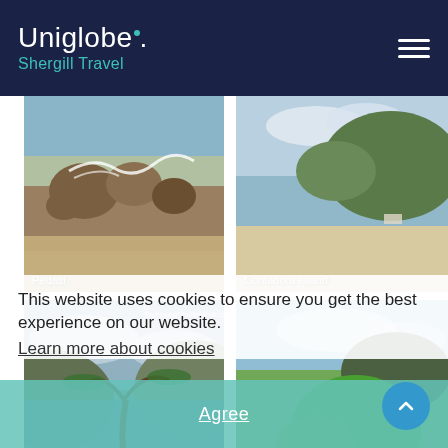Uniglobe. Shergill Travel
[Figure (photo): Rocky coastline with crashing waves and sandy beach — Pedasi]
[Figure (photo): Tropical island with white sand beach and clear water — Contadora Island]
[Figure (photo): Tropical coastal scene with palm trees and water — bottom left]
[Figure (photo): Lush green trees and park landscape — bottom right]
This website uses cookies to ensure you get the best experience on our website.
Learn more about cookies
Agree